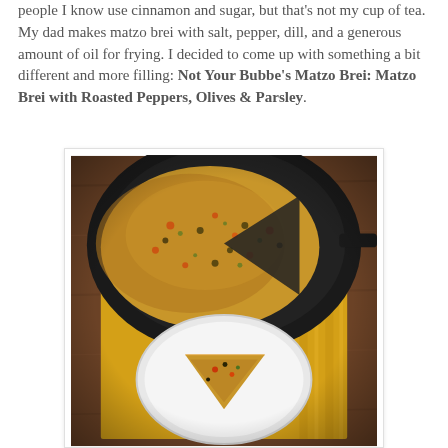people I know use cinnamon and sugar, but that's not my cup of tea. My dad makes matzo brei with salt, pepper, dill, and a generous amount of oil for frying. I decided to come up with something a bit different and more filling: Not Your Bubbe's Matzo Brei: Matzo Brei with Roasted Peppers, Olives & Parsley.
[Figure (photo): A cast iron skillet containing matzo brei with roasted peppers, olives and parsley, partially sliced. A triangular slice sits on a white plate below, placed on a yellow striped cloth napkin on a wooden surface.]